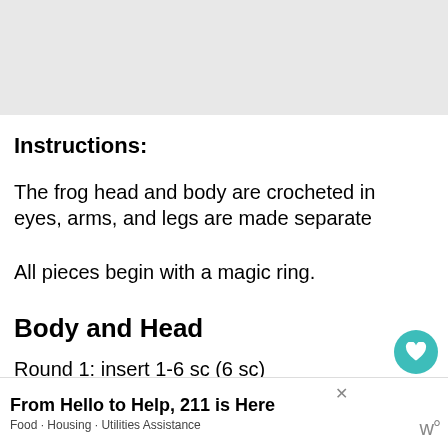[Figure (photo): Light gray image placeholder area at the top of the page]
Instructions:
The frog head and body are crocheted in one piece. The eyes, arms, and legs are made separately.
All pieces begin with a magic ring.
Body and Head
Round 1: insert 1-6 sc (6 sc)
[Figure (infographic): Advertisement bar: From Hello to Help, 211 is Here. Food · Housing · Utilities Assistance]